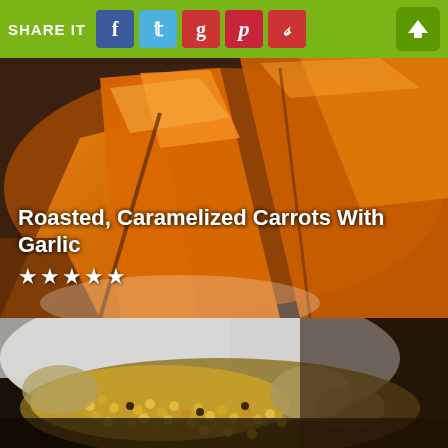SHARE IT
[Figure (photo): Close-up photo of roasted caramelized orange/yellow carrot pieces on a white plate]
Roasted, Caramelized Carrots With Garlic
[Figure (photo): Close-up photo of roasted corn kernels with onions and other vegetables in a white bowl]